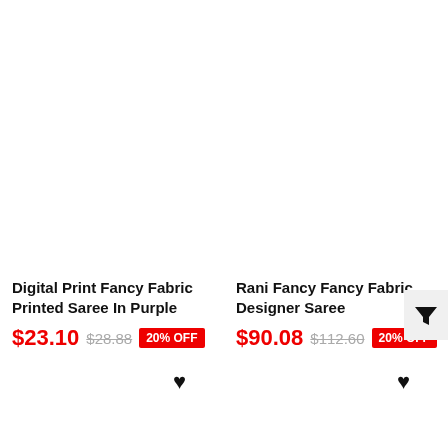Digital Print Fancy Fabric Printed Saree In Purple
$23.10  $28.88  20% OFF
Rani Fancy Fancy Fabric Designer Saree
$90.08  $112.60  20% OFF